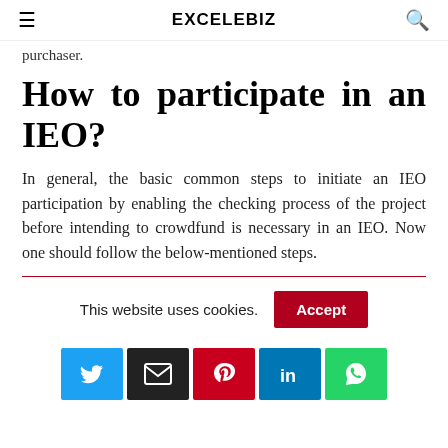EXCELEBIZ
purchaser.
How to participate in an IEO?
In general, the basic common steps to initiate an IEO participation by enabling the checking process of the project before intending to crowdfund is necessary in an IEO. Now one should follow the below-mentioned steps.
This website uses cookies.
Accept